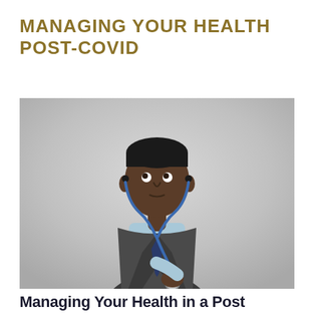MANAGING YOUR HEALTH POST-COVID
[Figure (photo): A Black man in a grey vest, light blue shirt, and blue tie listening to his own heart with a stethoscope, looking upward thoughtfully against a grey background.]
Managing Your Health in a Post